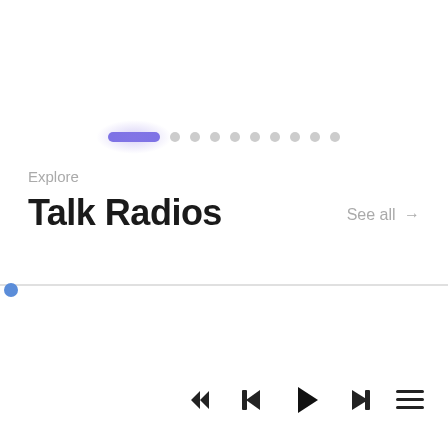[Figure (screenshot): Pagination dots/pills navigation bar with first pill highlighted in purple with glow effect and 8 grey dots following]
Explore
Talk Radios
See all →
[Figure (infographic): Audio progress bar with small blue circle at left end on grey track]
[Figure (infographic): Media player controls: rewind, play, fast-forward, hamburger menu icons]